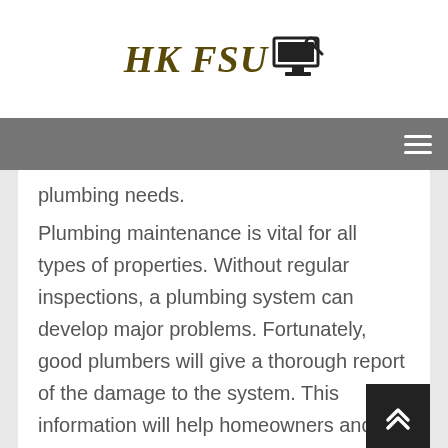HK FSU [monitor icon]
plumbing needs.
Plumbing maintenance is vital for all types of properties. Without regular inspections, a plumbing system can develop major problems. Fortunately, good plumbers will give a thorough report of the damage to the system. This information will help homeowners and plumbing businesses know exactly what to expect next. A plumber from HIREtrades can help you find a reputable plumber in your area. And since plumbers